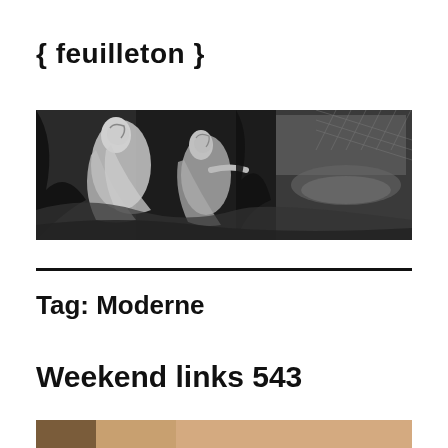{ feuilleton }
[Figure (illustration): A wide horizontal black-and-white engraving or illustration showing two robed figures in a landscape with trees and water in the background.]
Tag: Moderne
Weekend links 543
[Figure (photo): Partial view of a brownish image at bottom of page, cropped.]